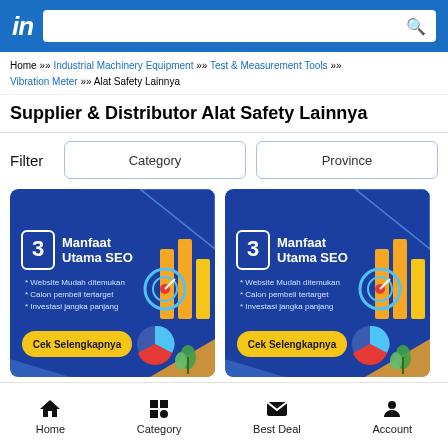in [logo] [search bar]
Home » Industrial Machinery Equipment » Test & Measurement Tools » Vibration Meter » Alat Safety Lainnya
Supplier & Distributor Alat Safety Lainnya
Filter   Category   Province
[Figure (infographic): Blue banner ad: '3 Manfaat Utama SEO' with bullet points: Website Mudah ditemukan, Calon pembeli tertarget, Investasi jangka panjang. Yellow button: Cek Selengkapnya. Decorative graphics on right side.]
[Figure (infographic): Blue banner ad: '3 Manfaat Utama SEO' with bullet points: Website Mudah ditemukan, Calon pembeli tertarget, Investasi jangka panjang. Yellow button: Cek Selengkapnya. Decorative graphics on right side.]
Home   Category   Best Deal   Account